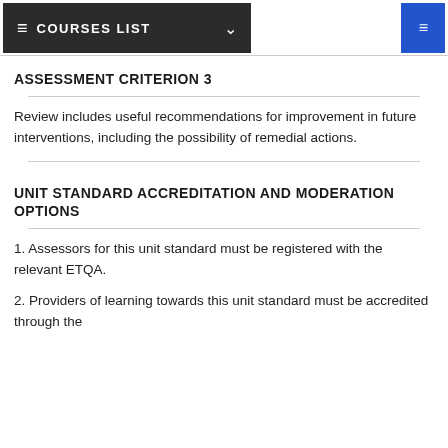COURSES LIST
ASSESSMENT CRITERION 3
Review includes useful recommendations for improvement in future interventions, including the possibility of remedial actions.
UNIT STANDARD ACCREDITATION AND MODERATION OPTIONS
1. Assessors for this unit standard must be registered with the relevant ETQA.
2. Providers of learning towards this unit standard must be accredited through the